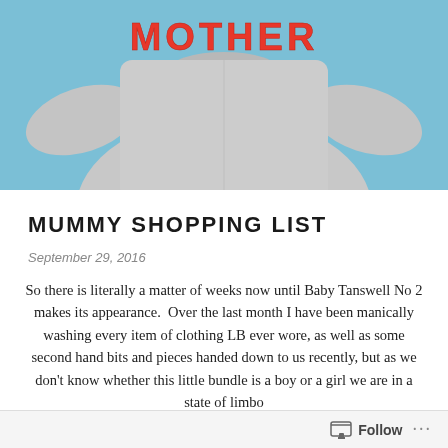[Figure (photo): A grey sweatshirt with 'MOTHER' printed in red lettering, photographed against a light blue background.]
MUMMY SHOPPING LIST
September 29, 2016
So there is literally a matter of weeks now until Baby Tanswell No 2 makes its appearance. Over the last month I have been manically washing every item of clothing LB ever wore, as well as some second hand bits and pieces handed down to us recently, but as we don't know whether this little bundle is a boy or a girl we are in a state of limbo
Follow ...